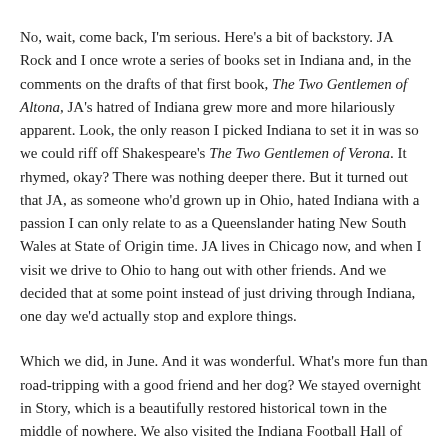No, wait, come back, I'm serious. Here's a bit of backstory. JA Rock and I once wrote a series of books set in Indiana and, in the comments on the drafts of that first book, The Two Gentlemen of Altona, JA's hatred of Indiana grew more and more hilariously apparent. Look, the only reason I picked Indiana to set it in was so we could riff off Shakespeare's The Two Gentlemen of Verona. It rhymed, okay? There was nothing deeper there. But it turned out that JA, as someone who'd grown up in Ohio, hated Indiana with a passion I can only relate to as a Queenslander hating New South Wales at State of Origin time. JA lives in Chicago now, and when I visit we drive to Ohio to hang out with other friends. And we decided that at some point instead of just driving through Indiana, one day we'd actually stop and explore things.
Which we did, in June. And it was wonderful. What's more fun than road-tripping with a good friend and her dog? We stayed overnight in Story, which is a beautifully restored historical town in the middle of nowhere. We also visited the Indiana Football Hall of Fame, the RV Museum, a massive candle outlet store,